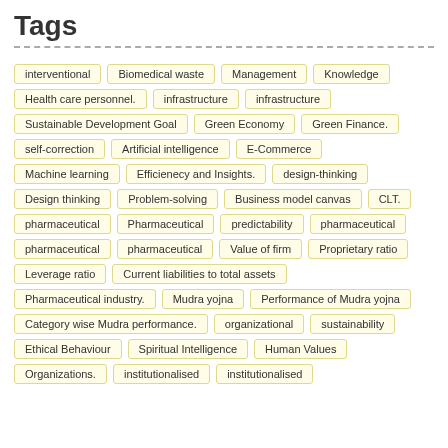Tags
interventional
Biomedical waste
Management
Knowledge
Health care personnel.
infrastructure
infrastructure
Sustainable Development Goal
Green Economy
Green Finance.
self-correction
Artificial intelligence
E-Commerce
Machine learning
Efficienecy and Insights.
design-thinking
Design thinking
Problem-solving
Business model canvas
CLT.
pharmaceutical
Pharmaceutical
predictability
pharmaceutical
pharmaceutical
pharmaceutical
Value of firm
Proprietary ratio
Leverage ratio
Current liabilities to total assets
Pharmaceutical industry.
Mudra yojna
Performance of Mudra yojna
Category wise Mudra performance.
organizational
sustainability
Ethical Behaviour
Spiritual Intelligence
Human Values
Organizations.
institutionalised
institutionalised